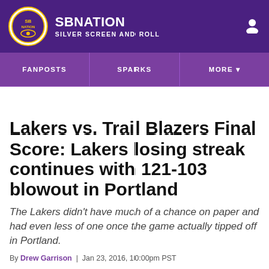SBNATION SILVER SCREEN AND ROLL
FANPOSTS | SPARKS | MORE
Lakers vs. Trail Blazers Final Score: Lakers losing streak continues with 121-103 blowout in Portland
The Lakers didn't have much of a chance on paper and had even less of one once the game actually tipped off in Portland.
By Drew Garrison | Jan 23, 2016, 10:00pm PST